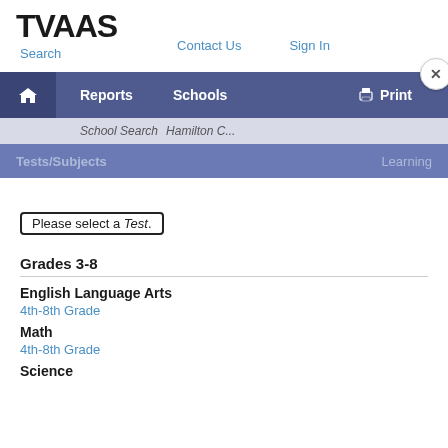TVAAS  Search  Contact Us  Sign In
Reports  Schools  Print
School Search  Hamilton C...
Tests/Subjects  Learning
Please select a Test.
Grades 3-8
English Language Arts
4th-8th Grade
Math
4th-8th Grade
Science